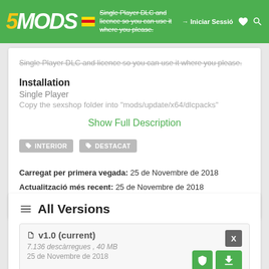5MODS — Single Player DLC and licence so you can use it where you please. Iniciar Sessió
Single Player DLC and licence so you can use it where you please.
Installation
Single Player
Copy the sexshop folder into "mods/update/x64/dlcpacks"
Show Full Description
INTERIOR
DESTACAT
Carregat per primera vegada: 25 de Novembre de 2018
Actualització més recent: 25 de Novembre de 2018
Últim descarregat: Fa 14 hores
All Versions
v1.0 (current)
7.136 descàrregues , 40 MB
25 de Novembre de 2018